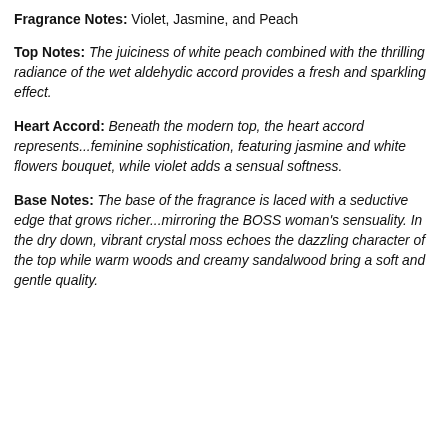Fragrance Notes: Violet, Jasmine, and Peach
Top Notes: The juiciness of white peach combined with the thrilling radiance of the wet aldehydic accord provides a fresh and sparkling effect.
Heart Accord: Beneath the modern top, the heart accord represents...feminine sophistication, featuring jasmine and white flowers bouquet, while violet adds a sensual softness.
Base Notes: The base of the fragrance is laced with a seductive edge that grows richer...mirroring the BOSS woman's sensuality. In the dry down, vibrant crystal moss echoes the dazzling character of the top while warm woods and creamy sandalwood bring a soft and gentle quality.